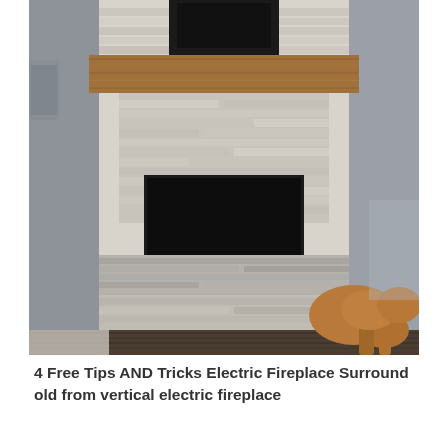[Figure (photo): A white stacked-stone fireplace surround with a wood beam mantel and dark firebox opening. A large black TV is mounted above on the stone. A golden/brown dog is visible in the lower right corner. Dark hardwood floors, a white rug in the lower left corner.]
4 Free Tips AND Tricks Electric Fireplace Surround old from vertical electric fireplace